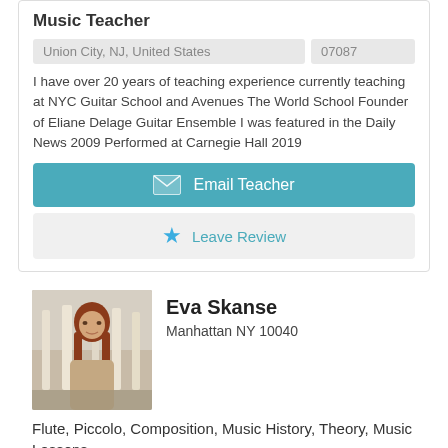Music Teacher
| Location | ZIP |
| --- | --- |
| Union City, NJ, United States | 07087 |
I have over 20 years of teaching experience currently teaching at NYC Guitar School and Avenues The World School Founder of Eliane Delage Guitar Ensemble I was featured in the Daily News 2009 Performed at Carnegie Hall 2019
Email Teacher
Leave Review
Eva Skanse
Manhattan NY 10040
[Figure (photo): Profile photo of Eva Skanse, a woman with long red hair standing outdoors among birch trees]
Flute, Piccolo, Composition, Music History, Theory, Music Lessons
| Location | ZIP |
| --- | --- |
| New York City, NY, United States | 10040 |
Join a vibrant community of musicians! I am a conservatory